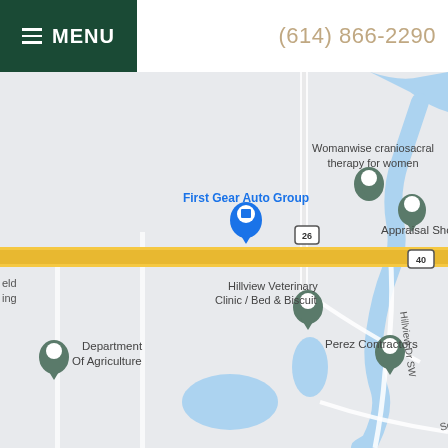MENU  (614) 866-2290
[Figure (map): Google Maps screenshot showing a local area map with landmarks including: Womanwise craniosacral therapy for women, First Gear Auto Group, Appraisal Shop, Hillview Veterinary Clinic / Bed & Biscuit, Perez Contractors, Department Of Agriculture. Roads visible include Route 26, Route 40 (main highway running east-west as a yellow road), Hillview Dr SW, Northview Dr SW, Southview Dr SW. Water features (blue areas/stream) are visible.]